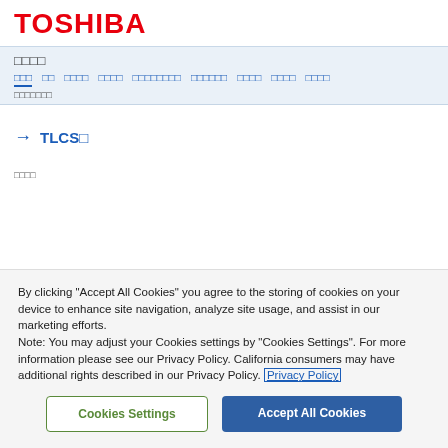TOSHIBA
□□□□
□□□  □□  □□□□  □□□□  □□□□□□□□  □□□□□□  □□□□  □□□□  □□□□
□□□□□□□
→ TLCS□
□□□□
By clicking "Accept All Cookies" you agree to the storing of cookies on your device to enhance site navigation, analyze site usage, and assist in our marketing efforts.
Note: You may adjust your Cookies settings by "Cookies Settings". For more information please see our Privacy Policy. California consumers may have additional rights described in our Privacy Policy. Privacy Policy
Cookies Settings | Accept All Cookies